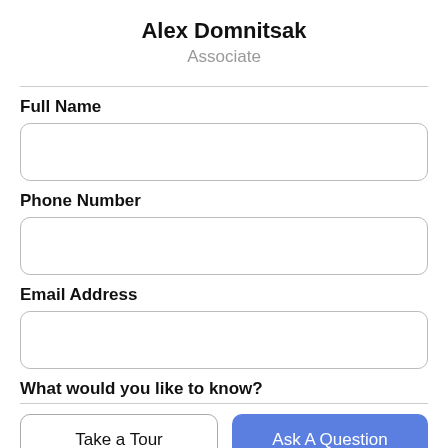Alex Domnitsak
Associate
Full Name
Phone Number
Email Address
What would you like to know?
Take a Tour
Ask A Question